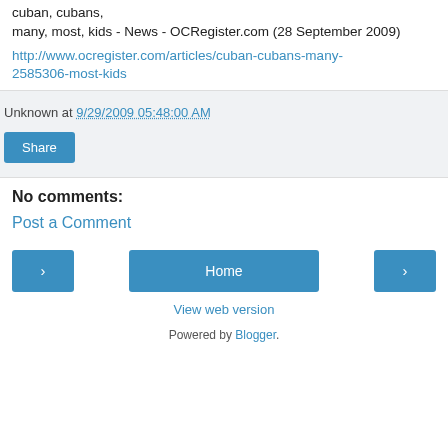cuban, cubans, many, most, kids - News - OCRegister.com (28 September 2009)
http://www.ocregister.com/articles/cuban-cubans-many-2585306-most-kids
Unknown at 9/29/2009 05:48:00 AM
Share
No comments:
Post a Comment
Home
View web version
Powered by Blogger.